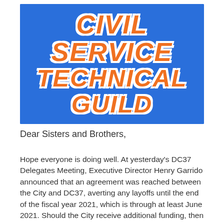[Figure (photo): Blue satin banner or jacket with embroidered orange text reading 'CIVIL SERVICE TECHNICAL GUILD' in large bold italic letters with white outline]
Dear Sisters and Brothers,
Hope everyone is doing well. At yesterday's DC37 Delegates Meeting, Executive Director Henry Garrido announced that an agreement was reached between the City and DC37, averting any layoffs until the end of the fiscal year 2021, which is through at least June 2021. Should the City receive additional funding, then the layoffs will be averted until the end of the fiscal year 2022.